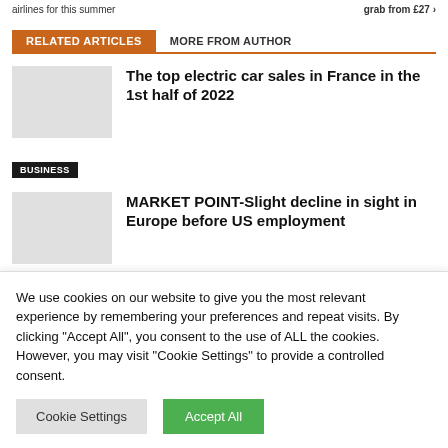airlines for this summer   grab from £27 >
RELATED ARTICLES   MORE FROM AUTHOR
The top electric car sales in France in the 1st half of 2022
BUSINESS
MARKET POINT-Slight decline in sight in Europe before US employment (updated) – 07/08/2022 at 09:34
We use cookies on our website to give you the most relevant experience by remembering your preferences and repeat visits. By clicking "Accept All", you consent to the use of ALL the cookies. However, you may visit "Cookie Settings" to provide a controlled consent.
Cookie Settings   Accept All